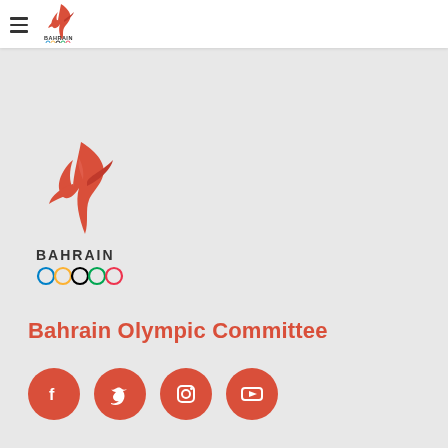[Figure (logo): Bahrain Olympic Committee logo in top navigation bar — flame/bird figure in red with BAHRAIN text and Olympic rings]
[Figure (logo): Bahrain Olympic Committee large logo — red flame/bird figure with BAHRAIN text and Olympic rings below]
Bahrain Olympic Committee
[Figure (infographic): Four red circular social media icon buttons: Facebook, Twitter, Instagram, YouTube]